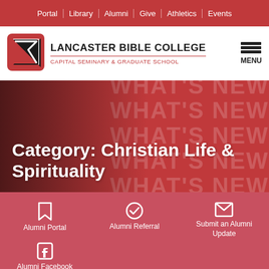Portal | Library | Alumni | Give | Athletics | Events
[Figure (logo): Lancaster Bible College Capital Seminary & Graduate School logo with red and black triangular design]
Category: Christian Life & Spirituality
Alumni Portal
Alumni Referral
Submit an Alumni Update
Alumni Facebook Group